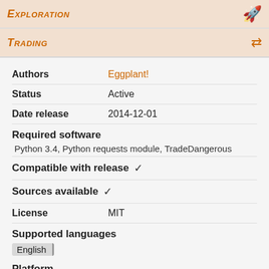Exploration
Trading
| Authors | Eggplant! |
| Status | Active |
| Date release | 2014-12-01 |
| Required software | Python 3.4, Python requests module, TradeDangerous |
| Compatible with release | ✔ |
| Sources available | ✔ |
| License | MIT |
| Supported languages | English |
| Platform | Linux | Mac | Windows |